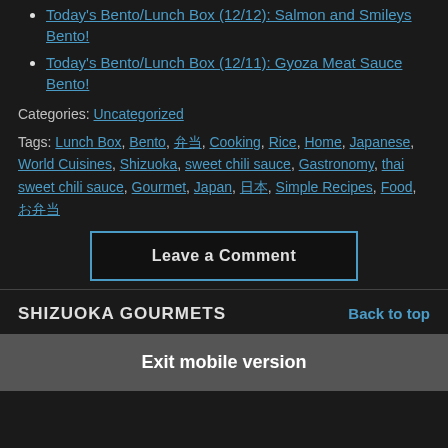Today's Bento/Lunch Box (12/12): Salmon and Smileys Bento!
Today's Bento/Lunch Box (12/11): Gyoza Meat Sauce Bento!
Categories: Uncategorized
Tags: Lunch Box, Bento, 弁当, Cooking, Rice, Home, Japanese, World Cuisines, Shizuoka, sweet chili sauce, Gastronomy, thai sweet chili sauce, Gourmet, Japan, 日本, Simple Recipes, Food, お弁当
Leave a Comment
SHIZUOKA GOURMETS   Back to top
Exit mobile version